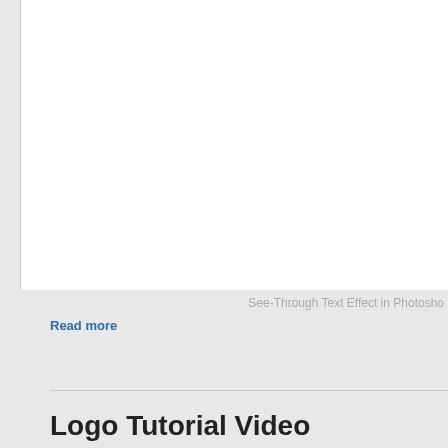[Figure (screenshot): White image box area, partial view of a tutorial screenshot with white background]
See-Through Text Effect in Photosho
Read more
Logo Tutorial Video